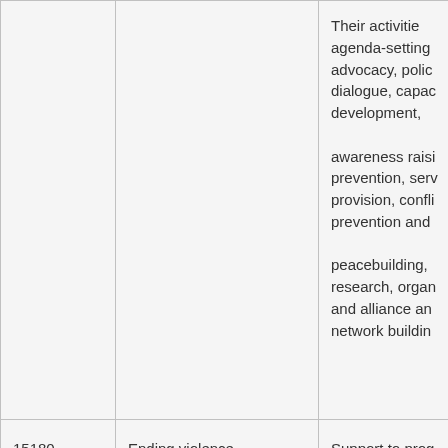| Code | Category | Description |
| --- | --- | --- |
|  |  | Their activities agenda-setting advocacy, policy dialogue, capacity development, awareness raising prevention, service provision, conflict prevention and peacebuilding, research, organization and alliance and network building |
| 15180 | Ending violence against women and girls | Support to programs designed to prevent and eliminate all forms of violence against women and |